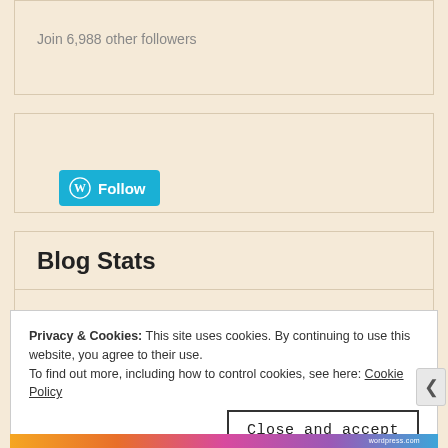Join 6,988 other followers
[Figure (screenshot): WordPress Follow button in teal/blue color with WordPress logo icon and 'Follow' text label]
Blog Stats
416,802 wallops
Privacy & Cookies: This site uses cookies. By continuing to use this website, you agree to their use. To find out more, including how to control cookies, see here: Cookie Policy
Close and accept